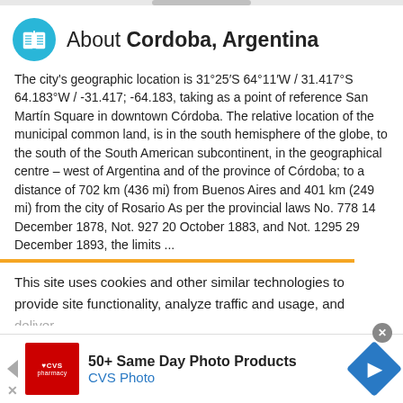About Cordoba, Argentina
The city's geographic location is 31°25′S 64°11′W / 31.417°S 64.183°W / -31.417; -64.183, taking as a point of reference San Martín Square in downtown Córdoba. The relative location of the municipal common land, is in the south hemisphere of the globe, to the south of the South American subcontinent, in the geographical centre – west of Argentina and of the province of Córdoba; to a distance of 702 km (436 mi) from Buenos Aires and 401 km (249 mi) from the city of Rosario As per the provincial laws No. 778 14 December 1878, Not. 927 20 October 1883, and Not. 1295 29 December 1893, the limits ...
This site uses cookies and other similar technologies to provide site functionality, analyze traffic and usage, and
[Figure (screenshot): CVS Pharmacy advertisement banner: red square logo with CVS pharmacy text, '50+ Same Day Photo Products' headline, 'CVS Photo' subtext in blue, navigation arrow icons on sides]